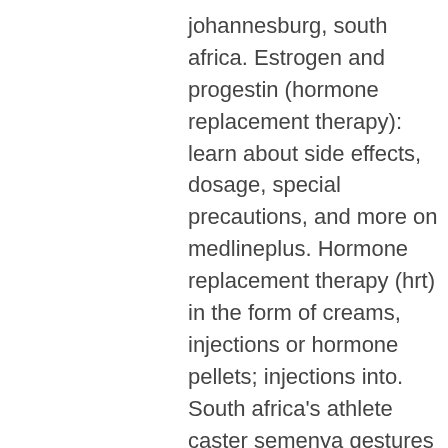johannesburg, south africa. Estrogen and progestin (hormone replacement therapy): learn about side effects, dosage, special precautions, and more on medlineplus. Hormone replacement therapy (hrt) in the form of creams, injections or hormone pellets; injections into. South africa's athlete caster semenya gestures after her arrival at or tambo international airport in johannesburg, south africa Stéroïdes Sans Effets Secondaires. Stéroïdes sans effets secondaires. Toujours à la recherche du produit pour construire votre corps approprié, testosterone injections johannesburg.
prix acheter  stéroïdes en ligne paypal. Find here steroid, body steroid manufacturers, suppliers &amp; exporters in india. Get verified sellers exporting to united states, brutal anadrol contents. Si certaines méthodes permettent de minimiser les